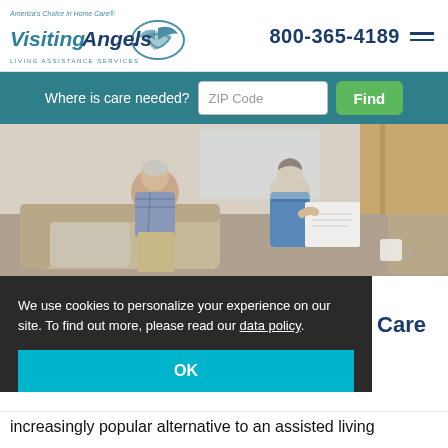[Figure (logo): Visiting Angels logo with bird icon and tagline 'America's Choice in Home Care. Living Assistance Services']
800-365-4189
Where is care needed?
[Figure (photo): Elderly man sitting on a couch with a caregiver in blue scrubs reviewing documents together]
We use cookies to personalize your experience on our site. To find out more, please read our data policy.
OK
Care
increasingly popular alternative to an assisted living